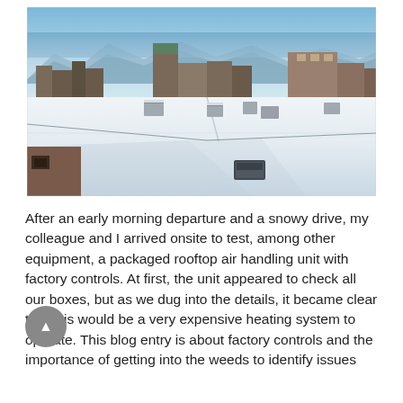[Figure (photo): Aerial view of snow-covered flat rooftops in an urban area with buildings and a body of water and mountains visible in the background under a blue sky. HVAC equipment visible on rooftops. A skylight or vent is visible in the foreground roof.]
After an early morning departure and a snowy drive, my colleague and I arrived onsite to test, among other equipment, a packaged rooftop air handling unit with factory controls. At first, the unit appeared to check all our boxes, but as we dug into the details, it became clear that this would be a very expensive heating system to operate. This blog entry is about factory controls and the importance of getting into the weeds to identify issues